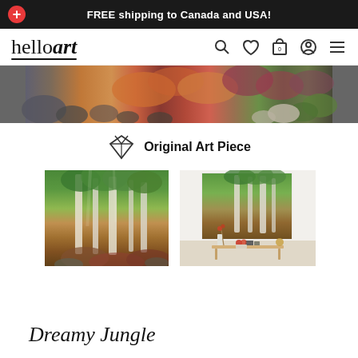FREE shipping to Canada and USA!
[Figure (logo): helloart logo with stylized text]
[Figure (photo): Panoramic detail of colorful nature painting with rocks and foliage]
Original Art Piece
[Figure (photo): Forest painting showing tall trees with autumn forest floor]
[Figure (photo): Room scene with large forest painting hung on wall above console table]
Dreamy Jungle